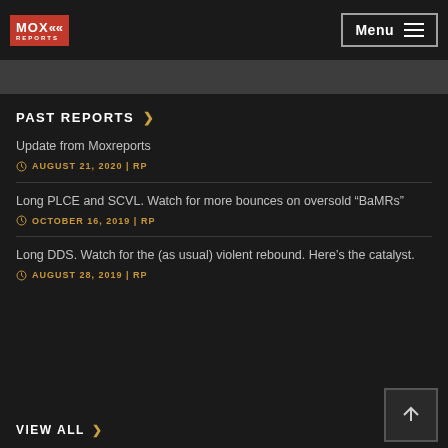MOX REPORTS | Menu
PAST REPORTS >
Update from Moxreports
AUGUST 21, 2020 | RP
Long PLCE and SCVL. Watch for more bounces on oversold “BaMRs”
OCTOBER 16, 2019 | RP
Long DDS. Watch for the (as usual) violent rebound. Here’s the catalyst.
AUGUST 28, 2019 | RP
VIEW ALL >